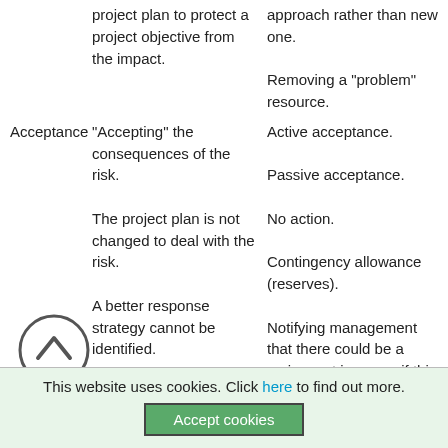|  |  |  |
| --- | --- | --- |
|  | project plan to protect a project objective from the impact. | approach rather than new one.

Removing a "problem" resource. |
| Acceptance | "Accepting" the consequences of the risk.

The project plan is not changed to deal with the risk.

A better response strategy cannot be identified. | Active acceptance.

Passive acceptance.

No action.

Contingency allowance (reserves).

Notifying management that there could be a major cost increase if this risk occurs. |
|  | Prepare... | for now... |
This website uses cookies. Click here to find out more.
Accept cookies